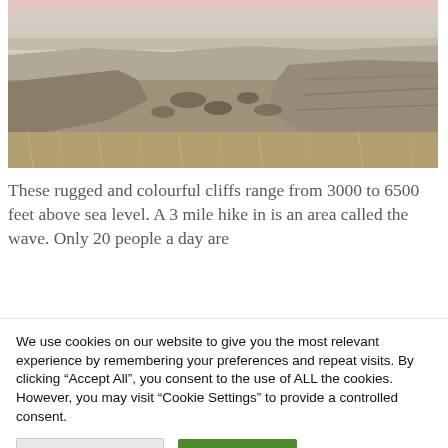[Figure (photo): Landscape photo of rugged desert cliffs and canyons with dry scrub vegetation, brownish-tan terrain, and a pinkish sky along the horizon.]
These rugged and colourful cliffs range from 3000 to 6500 feet above sea level. A 3 mile hike in is an area called the wave. Only 20 people a day are
We use cookies on our website to give you the most relevant experience by remembering your preferences and repeat visits. By clicking “Accept All”, you consent to the use of ALL the cookies. However, you may visit “Cookie Settings” to provide a controlled consent.